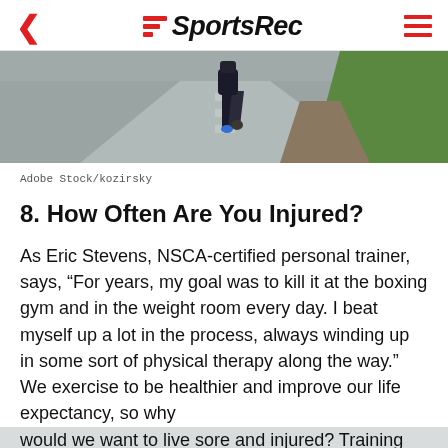SportsRec
[Figure (photo): Runner's legs from behind on a road, with green grass on the right side]
Adobe Stock/kozirsky
8. How Often Are You Injured?
As Eric Stevens, NSCA-certified personal trainer, says, “For years, my goal was to kill it at the boxing gym and in the weight room every day. I beat myself up a lot in the process, always winding up in some sort of physical therapy along the way.” We exercise to be healthier and improve our life expectancy, so why would we want to live sore and injured? Training should make your joints, tendons and ligaments more